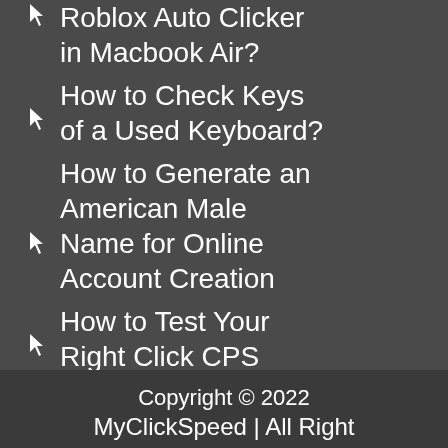How to Install Roblox Auto Clicker in Macbook Air?
How to Check Keys of a Used Keyboard?
How to Generate an American Male Name for Online Account Creation
How to Test Your Right Click CPS
Copyright © 2022
MyClickSpeed | All Right